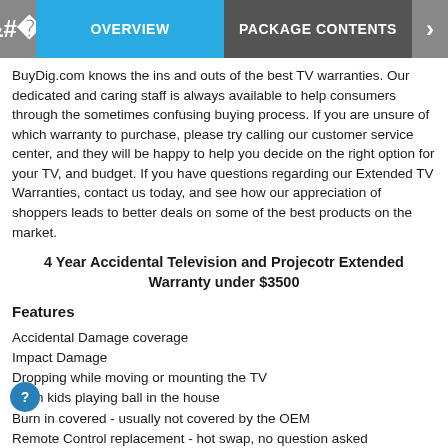OVERVIEW | PACKAGE CONTENTS
BuyDig.com knows the ins and outs of the best TV warranties. Our dedicated and caring staff is always available to help consumers through the sometimes confusing buying process. If you are unsure of which warranty to purchase, please try calling our customer service center, and they will be happy to help you decide on the right option for your TV, and budget. If you have questions regarding our Extended TV Warranties, contact us today, and see how our appreciation of shoppers leads to better deals on some of the best products on the market.
4 Year Accidental Television and Projecotr Extended Warranty under $3500
Features
Accidental Damage coverage
Impact Damage
Dropping while moving or mounting the TV
From kids playing ball in the house
Burn in covered - usually not covered by the OEM
Remote Control replacement - hot swap, no question asked
Tech Support included - included at no extra charge